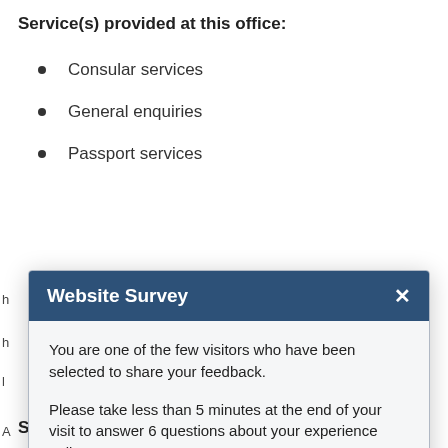Service(s) provided at this office:
Consular services
General enquiries
Passport services
Website Survey
You are one of the few visitors who have been selected to share your feedback.
Please take less than 5 minutes at the end of your visit to answer 6 questions about your experience online.
Yes, after my visit.
No, thank you.
Service(s) provided at this office: